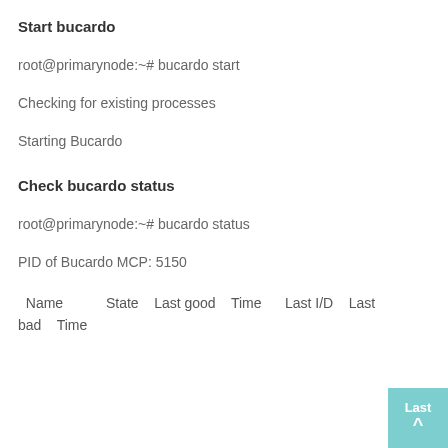Start bucardo
root@primarynode:~# bucardo start
Checking for existing processes
Starting Bucardo
Check bucardo status
root@primarynode:~# bucardo status
PID of Bucardo MCP: 5150
Name    State    Last good    Time    Last I/D    Last bad    Time